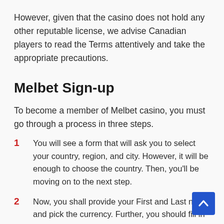However, given that the casino does not hold any other reputable license, we advise Canadian players to read the Terms attentively and take the appropriate precautions.
Melbet Sign-up
To become a member of Melbet casino, you must go through a process in three steps.
1 You will see a form that will ask you to select your country, region, and city. However, it will be enough to choose the country. Then, you'll be moving on to the next step.
2 Now, you shall provide your First and Last name and pick the currency. Further, you should fill in with your password, mail, and the promo code, if you got one. After completing this part as well, you'll receive an email